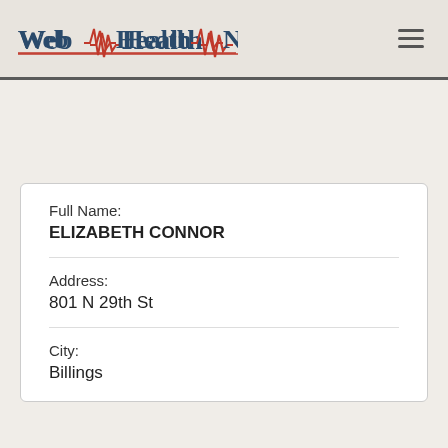[Figure (logo): Web Health Network logo with heartbeat line graphic in red and dark blue text]
Full Name:
ELIZABETH CONNOR
Address:
801 N 29th St
City:
Billings